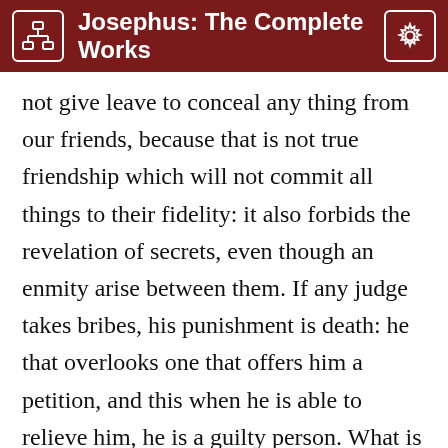Josephus: The Complete Works
not give leave to conceal any thing from our friends, because that is not true friendship which will not commit all things to their fidelity: it also forbids the revelation of secrets, even though an enmity arise between them. If any judge takes bribes, his punishment is death: he that overlooks one that offers him a petition, and this when he is able to relieve him, he is a guilty person. What is not by any one intrusted to another ought not to be required back again. No one is to touch another's goods. He that lends money must not demand usury for its loan. These, and many more of the like sort,